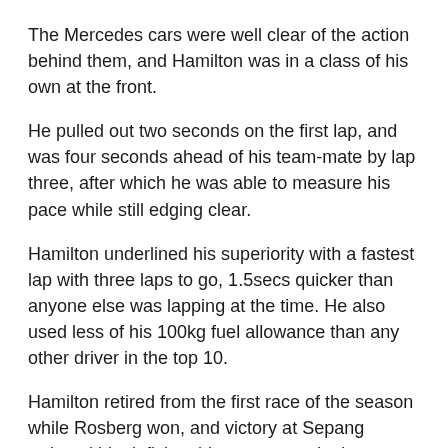The Mercedes cars were well clear of the action behind them, and Hamilton was in a class of his own at the front.
He pulled out two seconds on the first lap, and was four seconds ahead of his team-mate by lap three, after which he was able to measure his pace while still edging clear.
Hamilton underlined his superiority with a fastest lap with three laps to go, 1.5secs quicker than anyone else was lapping at the time. He also used less of his 100kg fuel allowance than any other driver in the top 10.
Hamilton retired from the first race of the season while Rosberg won, and victory at Sepang reduced his deficit to his team-mate in the championship to 18 points.